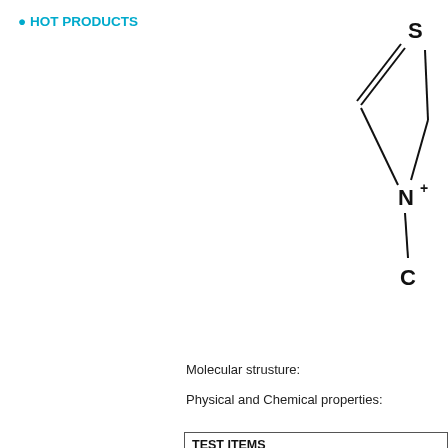HOT PRODUCTS
[Figure (chemical-structure): Partial molecular structure showing a thiazole ring with S at top, double bonds, N+ in the ring, and a C substituent visible at bottom right]
Molecular strusture:
Physical and Chemical properties:
| TEST ITEMS |
| --- |
| APPEARANCE |
| LIGHTING |
| SOAPING |
| PERSPIRATING |
| FRICTION(DRY) |
| FRICTION(WET) |